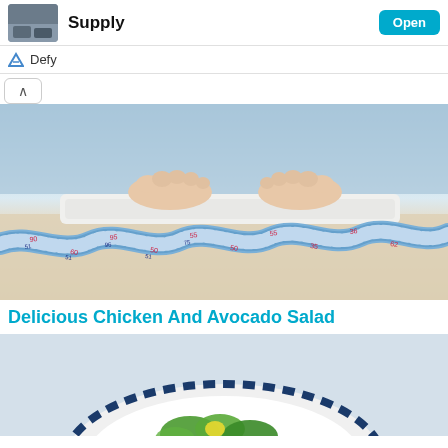[Figure (screenshot): App listing top bar with thumbnail image, title 'Supply', and 'Open' button]
Defy
[Figure (photo): Person's feet standing on a white bathroom scale with a blue measuring tape winding in front on a beige surface]
Delicious Chicken And Avocado Salad
[Figure (photo): Partial view of a plate with green salad on a striped blue and white plate]